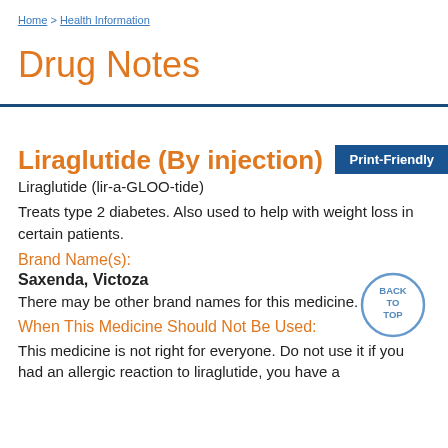Home > Health Information
Drug Notes
Print-Friendly
Liraglutide (By injection)
Liraglutide (lir-a-GLOO-tide)
Treats type 2 diabetes. Also used to help with weight loss in certain patients.
Brand Name(s):
Saxenda, Victoza
There may be other brand names for this medicine.
When This Medicine Should Not Be Used:
This medicine is not right for everyone. Do not use it if you had an allergic reaction to liraglutide, you have a multiple endocrine neoplasia syndrome 2 (MEN 2)